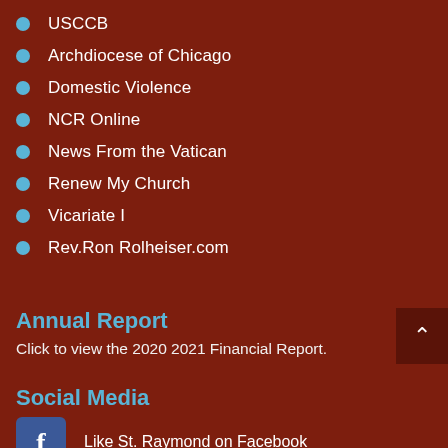USCCB
Archdiocese of Chicago
Domestic Violence
NCR Online
News From the Vatican
Renew My Church
Vicariate I
Rev.Ron Rolheiser.com
Annual Report
Click to view the 2020 2021 Financial Report.
Social Media
Like St. Raymond on Facebook